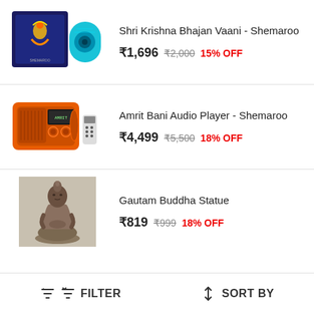[Figure (photo): Shri Krishna Bhajan Vaani product image - box set with blue speaker]
Shri Krishna Bhajan Vaani - Shemaroo
₹1,696  ₹2,000  15% OFF
[Figure (photo): Amrit Bani Audio Player - orange retro radio with remote control]
Amrit Bani Audio Player - Shemaroo
₹4,499  ₹5,500  18% OFF
[Figure (photo): Gautam Buddha Statue - seated meditation figure on gray background]
Gautam Buddha Statue
₹819  ₹999  18% OFF
FILTER   SORT BY